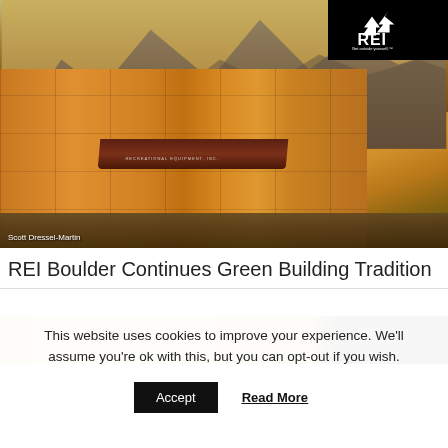[Figure (photo): Exterior photograph of REI Boulder store — a modern building with warm golden-brown stone/tile facade, a dark maroon awning over the entrance with 'Recreational Equipment, Inc.' signage, mountains visible in background under a golden-hued sky, wet pavement in foreground. REI logo in black box top-right corner. Photo credit: Scott Dressel-Martin.]
Scott Dressel-Martin
REI Boulder Continues Green Building Tradition
[Figure (photo): Partial second image strip — appears to be another exterior or interior photo, partially visible at the bottom of the main content area.]
This website uses cookies to improve your experience. We'll assume you're ok with this, but you can opt-out if you wish.